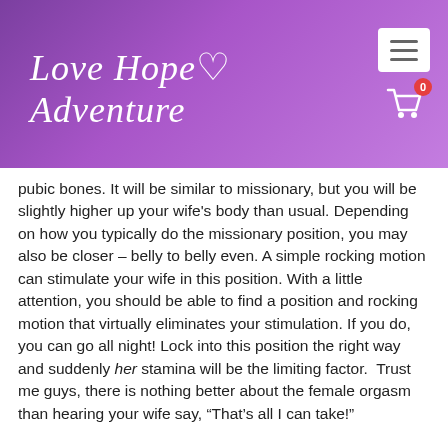[Figure (logo): Love Hope Adventure logo with cursive white text and heart outline on purple gradient background, with hamburger menu button and shopping cart icon with badge showing 0]
pubic bones. It will be similar to missionary, but you will be slightly higher up your wife's body than usual. Depending on how you typically do the missionary position, you may also be closer – belly to belly even. A simple rocking motion can stimulate your wife in this position. With a little attention, you should be able to find a position and rocking motion that virtually eliminates your stimulation. If you do, you can go all night! Lock into this position the right way and suddenly her stamina will be the limiting factor.  Trust me guys, there is nothing better about the female orgasm than hearing your wife say, “That’s all I can take!”